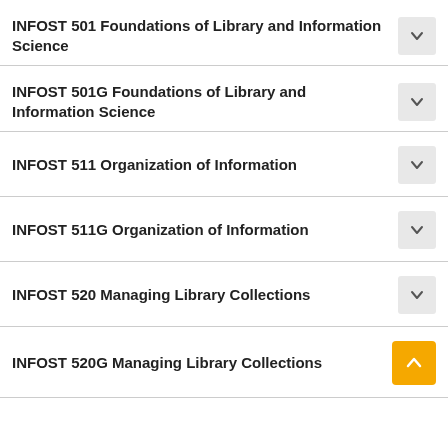INFOST 501 Foundations of Library and Information Science
INFOST 501G Foundations of Library and Information Science
INFOST 511 Organization of Information
INFOST 511G Organization of Information
INFOST 520 Managing Library Collections
INFOST 520G Managing Library Collections